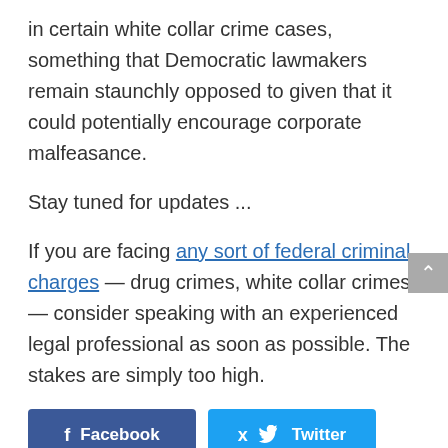in certain white collar crime cases, something that Democratic lawmakers remain staunchly opposed to given that it could potentially encourage corporate malfeasance.
Stay tuned for updates ...
If you are facing any sort of federal criminal charges — drug crimes, white collar crimes — consider speaking with an experienced legal professional as soon as possible. The stakes are simply too high.
[Figure (other): Social sharing buttons: Facebook, Twitter, LinkedIn]